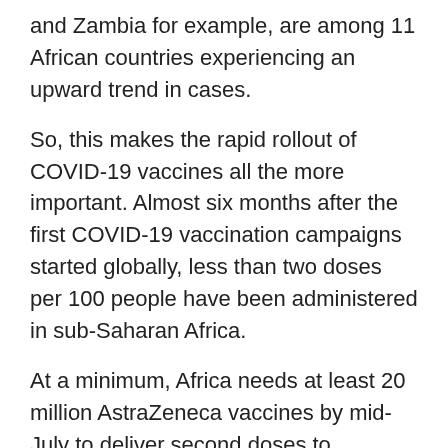and Zambia for example, are among 11 African countries experiencing an upward trend in cases.
So, this makes the rapid rollout of COVID-19 vaccines all the more important. Almost six months after the first COVID-19 vaccination campaigns started globally, less than two doses per 100 people have been administered in sub-Saharan Africa.
At a minimum, Africa needs at least 20 million AstraZeneca vaccines by mid-July to deliver second doses to everyone who received their first shots. Africa needs vaccines now. Any pause in our vaccination campaigns will lead to lost lives and lost hope.
Another 200 million doses are needed so that